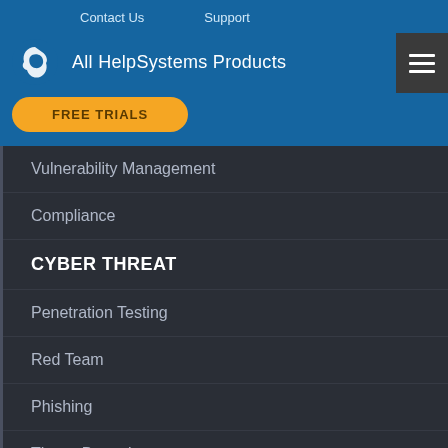Contact Us   Support
All HelpSystems Products
FREE TRIALS
Vulnerability Management
Compliance
CYBER THREAT
Penetration Testing
Red Team
Phishing
Threat Detection
Data privacy is a top priority for us, and so is transparency. We use cookies to power features such as live chat, enhanced web security, video players, account login, web forms and analytics. For more details or to customize your preferences, click "Manage Cookies".
Accept & Continue
Manage Cookies